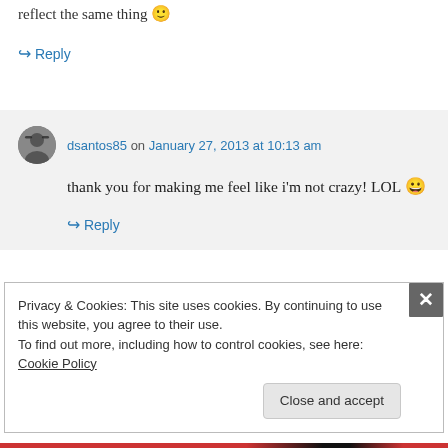reflect the same thing 🙂
↪ Reply
dsantos85 on January 27, 2013 at 10:13 am
thank you for making me feel like i'm not crazy! LOL 😀
↪ Reply
Privacy & Cookies: This site uses cookies. By continuing to use this website, you agree to their use. To find out more, including how to control cookies, see here: Cookie Policy
Close and accept